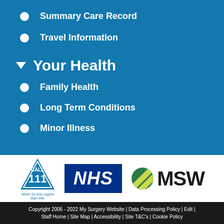Summary Care Record
Travel Information
Your Health
Family Health
Long Term Conditions
Minor Illness
[Figure (logo): Call 111 triangle logo, NHS blue logo, MSW green circle logo]
Copyright 2006 - 2022 My Surgery Website | Data Processing Policy | Edit | Staff Home | Site Map | Accessibility | Site T&C's | Cookie Policy